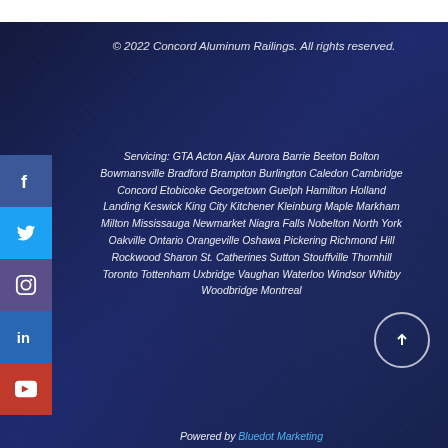© 2022 Concord Aluminum Railings. All rights reserved.
Servicing: GTA Acton Ajax Aurora Barrie Beeton Bolton Bowmansville Bradford Brampton Burlington Caledon Cambridge Concord Etobicoke Georgetown Guelph Hamilton Holland Landing Keswick King City Kitchener Kleinburg Maple Markham Milton Mississauga Newmarket Niagra Falls Nobelton North York Oakville Ontario Orangeville Oshawa Pickering Richmond Hill Rockwood Sharon St. Catherines Sutton Stouffville Thornhill Toronto Tottenham Uxbridge Vaughan Waterloo Windsor Whitby Woodbridge Montreal
Powered by Bluedot Marketing